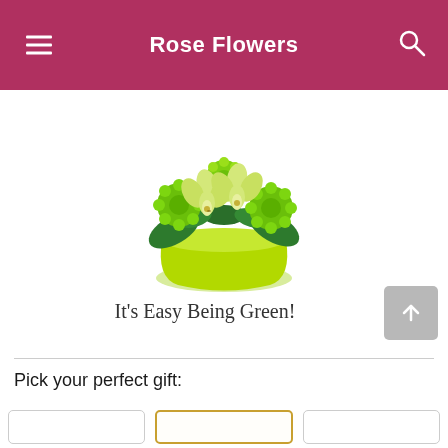Rose Flowers
[Figure (photo): A green flower arrangement with orchids and chrysanthemums in a lime green rounded pot, on a white background.]
It's Easy Being Green!
Pick your perfect gift: